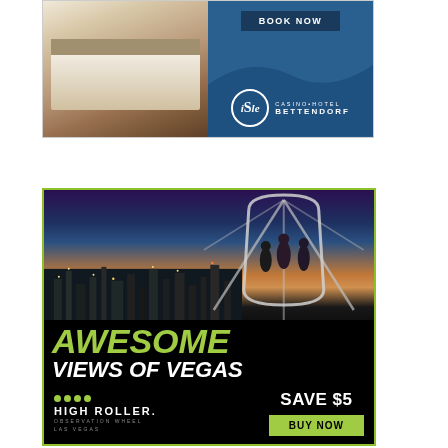[Figure (illustration): Isle Casino Hotel Bettendorf advertisement. Left half shows a hotel bed with white linens and brown/tan bedding. Right half has a dark blue background with a 'BOOK NOW' button at top, a wavy shape, and the Isle Casino Hotel Bettendorf logo (circle with 'iSle' text and casino hotel name beside it).]
[Figure (illustration): High Roller Observation Wheel Las Vegas advertisement. Top portion shows photo of Las Vegas skyline at dusk with people standing in a High Roller observation pod. Black lower section has 'AWESOME' in large green italic text, 'VIEWS OF VEGAS' in white bold italic text, High Roller logo on left, and 'SAVE $5' with a green 'BUY NOW' button on right.]